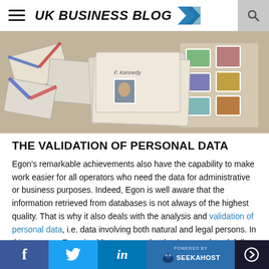UK BUSINESS BLOG
[Figure (photo): Overhead view of scattered envelopes, letters, and postage stamps in various colors including blue, red, and multicolor. A handwritten label 'F. Kennedy' is visible on one envelope.]
THE VALIDATION OF PERSONAL DATA
Egon's remarkable achievements also have the capability to make work easier for all operators who need the data for administrative or business purposes. Indeed, Egon is well aware that the information retrieved from databases is not always of the highest quality. That is why it also deals with the analysis and validation of personal data, i.e. data involving both natural and legal persons. In this area too, Egon is able to access the database and work fully automatically. The correct identification of the person by the intersection of data from different sources enables
f  [Twitter]  in  Powered By SEEKAHOST  [arrow]